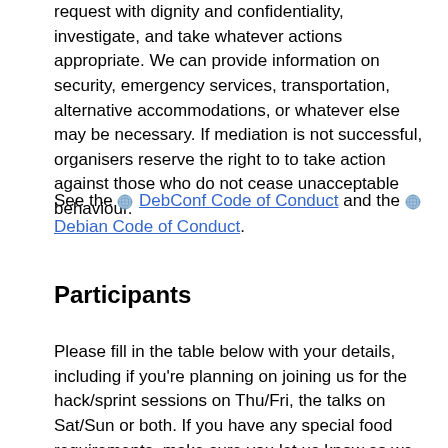request with dignity and confidentiality, investigate, and take whatever actions appropriate. We can provide information on security, emergency services, transportation, alternative accommodations, or whatever else may be necessary. If mediation is not successful, organisers reserve the right to to take action against those who do not cease unacceptable behaviour.
See the DebConf Code of Conduct and the Debian Code of Conduct.
Participants
Please fill in the table below with your details, including if you're planning on joining us for the hack/sprint sessions on Thu/Fri, the talks on Sat/Sun or both. If you have any special food requirements, make sure you let us know so we can help plan for